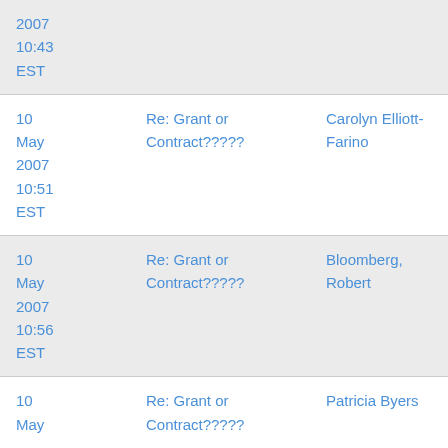| Date | Subject | From |
| --- | --- | --- |
| 10 May 2007 10:43 EST |  |  |
| 10 May 2007 10:51 EST | Re: Grant or Contract????? | Carolyn Elliott-Farino |
| 10 May 2007 10:56 EST | Re: Grant or Contract????? | Bloomberg, Robert |
| 10 May 2007 | Re: Grant or Contract????? | Patricia Byers |